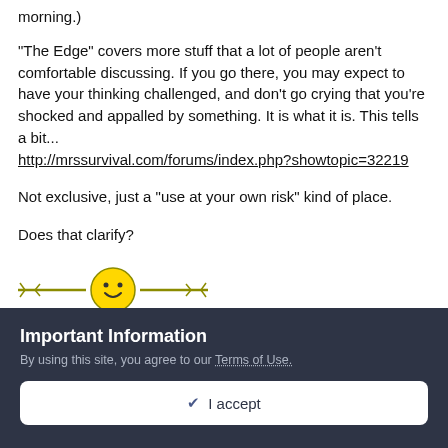morning.)
"The Edge" covers more stuff that a lot of people aren't comfortable discussing. If you go there, you may expect to have your thinking challenged, and don't go crying that you're shocked and appalled by something. It is what it is. This tells a bit... http://mrssurvival.com/forums/index.php?showtopic=32219
Not exclusive, just a "use at your own risk" kind of place.
Does that clarify?
[Figure (illustration): Decorative horizontal divider: a horizontal olive/yellow line with ornamental flourishes at each end and a yellow smiley face circle in the center.]
Important Information
By using this site, you agree to our Terms of Use.
✓ I accept